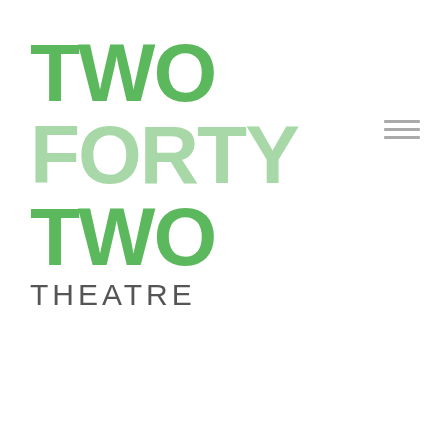[Figure (logo): Two Forty Two Theatre logo with stacked bold text: TWO in dark green, FORTY in light green, TWO in dark green, THEATRE in grey spaced letters below]
[Figure (other): Hamburger menu icon: three horizontal grey bars stacked vertically, positioned top right]